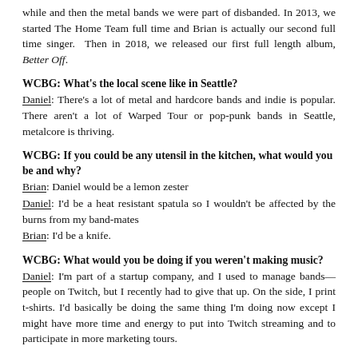while and then the metal bands we were part of disbanded. In 2013, we started The Home Team full time and Brian is actually our second full time singer. Then in 2018, we released our first full length album, Better Off.
WCBG: What's the local scene like in Seattle?
Daniel: There's a lot of metal and hardcore bands and indie is popular. There aren't a lot of Warped Tour or pop-punk bands in Seattle, metalcore is thriving.
WCBG: If you could be any utensil in the kitchen, what would you be and why?
Brian: Daniel would be a lemon zester
Daniel: I'd be a heat resistant spatula so I wouldn't be affected by the burns from my band-mates
Brian: I'd be a knife.
WCBG: What would you be doing if you weren't making music?
Daniel: I'm part of a startup company, and I used to manage bands—people on Twitch, but I recently had to give that up. On the side, I print t-shirts. I'd basically be doing the same thing I'm doing now except I might have more time and energy to put into Twitch streaming and to participate in more marketing tours.